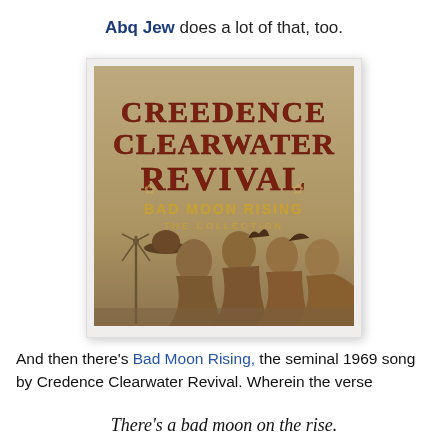Abq Jew does a lot of that, too.
[Figure (photo): Album cover for Creedence Clearwater Revival - Bad Moon Rising: The Collection. Shows the band name in large red/brown serif letters at top, subtitle 'BAD MOON RISING THE COLLECTION' in gold, and a sepia-toned photo of four band members in profile facing right, one wearing a cowboy hat, with a windmill in background.]
And then there's Bad Moon Rising, the seminal 1969 song by Credence Clearwater Revival. Wherein the verse
There's a bad moon on the rise.